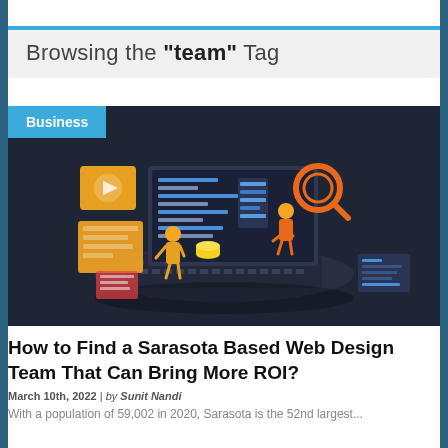Browsing the "team" Tag
[Figure (illustration): Isometric illustration of people working around a large laptop with code, analytics charts, a magnifying glass, and various tech elements on a dark background. A 'Business' badge overlays the top-left corner.]
How to Find a Sarasota Based Web Design Team That Can Bring More ROI?
March 10th, 2022 | by Sunit Nandi
With a population of 59,002 in 2020, Sarasota is the 52nd largest...